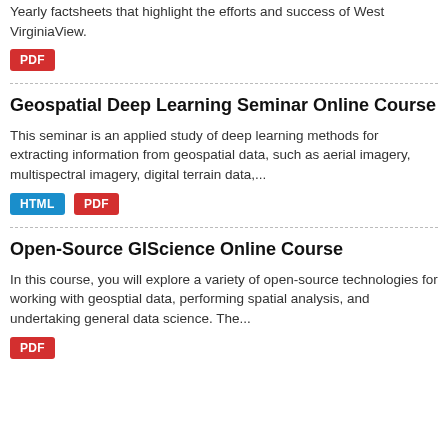Yearly factsheets that highlight the efforts and success of West VirginiaView.
PDF
Geospatial Deep Learning Seminar Online Course
This seminar is an applied study of deep learning methods for extracting information from geospatial data, such as aerial imagery, multispectral imagery, digital terrain data,...
HTML PDF
Open-Source GIScience Online Course
In this course, you will explore a variety of open-source technologies for working with geosptial data, performing spatial analysis, and undertaking general data science. The...
PDF